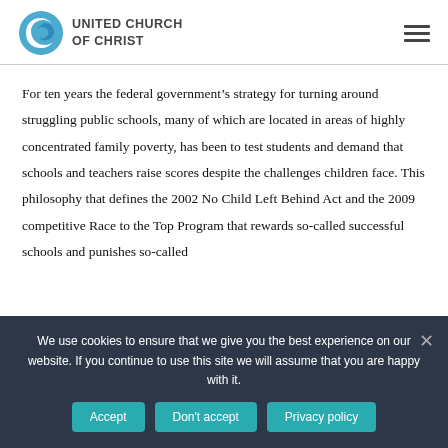[Figure (logo): United Church of Christ logo with spiral blue circle and text]
For ten years the federal government's strategy for turning around struggling public schools, many of which are located in areas of highly concentrated family poverty, has been to test students and demand that schools and teachers raise scores despite the challenges children face. This philosophy that defines the 2002 No Child Left Behind Act and the 2009 competitive Race to the Top Program that rewards so-called successful schools and punishes so-called
We use cookies to ensure that we give you the best experience on our website. If you continue to use this site we will assume that you are happy with it.
Accept | Don't accept | Privacy policy